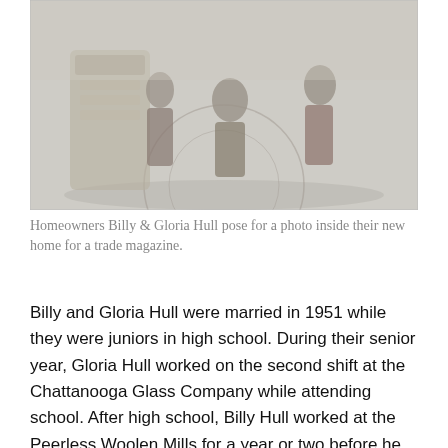[Figure (photo): A grayscale vintage photograph showing people posing inside a home with mosaic tile flooring and decorative elements, likely for a trade magazine.]
Homeowners Billy & Gloria Hull pose for a photo inside their new home for a trade magazine.
Billy and Gloria Hull were married in 1951 while they were juniors in high school. During their senior year, Gloria Hull worked on the second shift at the Chattanooga Glass Company while attending school. After high school, Billy Hull worked at the Peerless Woolen Mills for a year or two before he enrolled in college at Tennessee Tech in Cookeville, Tennessee. He graduated from Tennessee Technological University in 1958 or 1959 and moved back to